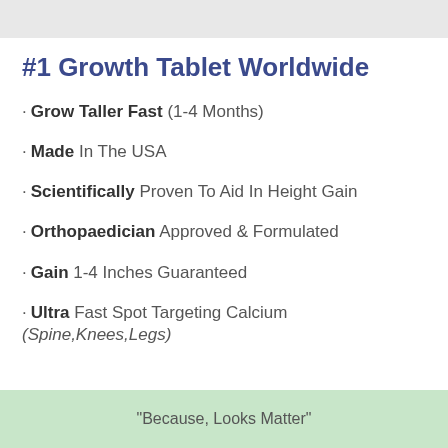#1 Growth Tablet Worldwide
Grow Taller Fast (1-4 Months)
Made In The USA
Scientifically Proven To Aid In Height Gain
Orthopaedician Approved & Formulated
Gain 1-4 Inches Guaranteed
Ultra Fast Spot Targeting Calcium (Spine,Knees,Legs)
"Because, Looks Matter"